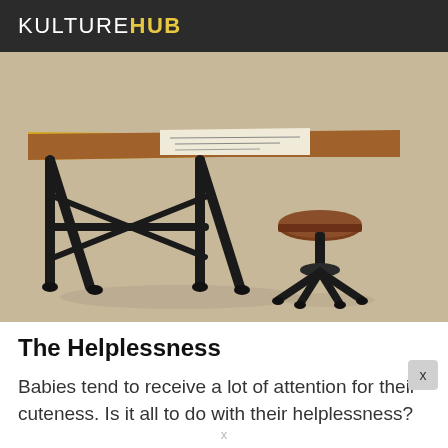KULTUREHUB
[Figure (photo): Miniature drafting table with a wooden top and black metal frame, accompanied by a small round wooden stool, on a tan/beige background.]
The Helplessness
Babies tend to receive a lot of attention for their cuteness. Is it all to do with their helplessness?